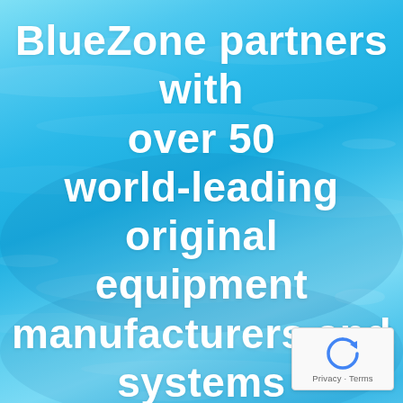[Figure (illustration): Underwater blue water background with light ripples and caustic patterns]
BlueZone partners with over 50 world-leading original equipment manufacturers and systems providers
[Figure (logo): reCAPTCHA logo box with circular arrow icon and 'Privacy · Terms' text]